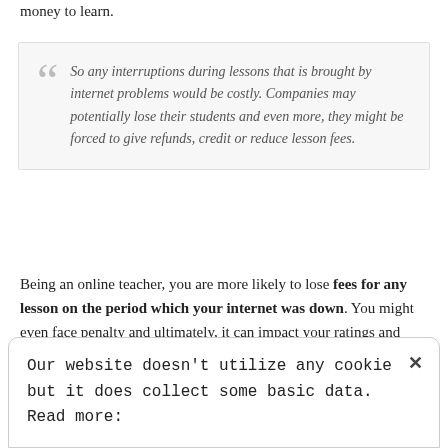money to learn.
So any interruptions during lessons that is brought by internet problems would be costly. Companies may potentially lose their students and even more, they might be forced to give refunds, credit or reduce lesson fees.
Being an online teacher, you are more likely to lose fees for any lesson on the period which your internet was down. You might even face penalty and ultimately, it can impact your ratings and popularity as an online teacher. Without a doubt, the last thing that any online teacher wants to happen is to lose time and income while stressing themselves of the slow and unreliable
Our website doesn't utilize any cookie but it does collect some basic data. Read more: